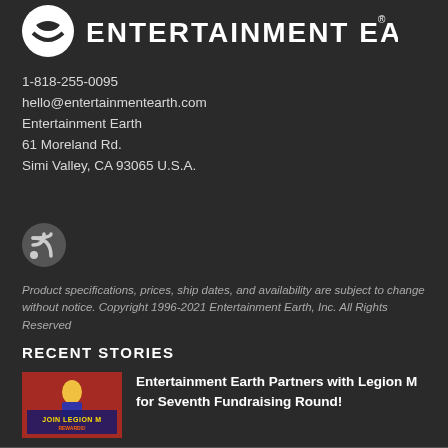[Figure (logo): Entertainment Earth logo with circular icon and white text on dark background]
1-818-255-0095
hello@entertainmentearth.com
Entertainment Earth
61 Moreland Rd.
Simi Valley, CA 93065 U.S.A.
[Figure (logo): RSS feed icon]
Product specifications, prices, ship dates, and availability are subject to change without notice. Copyright 1996-2021 Entertainment Earth, Inc. All Rights Reserved
RECENT STORIES
[Figure (photo): Join Legion M promotional image with red background showing a retro sci-fi character]
Entertainment Earth Partners with Legion M for Seventh Fundraising Round!